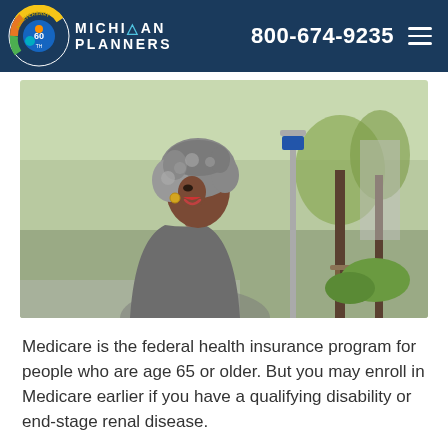Michigan Planners | 800-674-9235
[Figure (photo): A smiling older woman with gray curly hair wearing a gray coat, looking back over her shoulder on a city street with trees and a bench in the background.]
Medicare is the federal health insurance program for people who are age 65 or older. But you may enroll in Medicare earlier if you have a qualifying disability or end-stage renal disease.